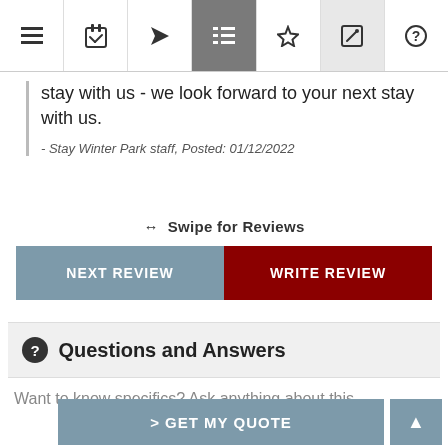[Figure (screenshot): Navigation bar with icons: hamburger menu, calendar/checklist, tag, list (active/highlighted), star, edit, help]
stay with us - we look forward to your next stay with us.
- Stay Winter Park staff, Posted: 01/12/2022
↔ Swipe for Reviews
[Figure (screenshot): Two buttons side by side: NEXT REVIEW (grey-blue) and WRITE REVIEW (dark red)]
Questions and Answers
Want to know specifics? Ask anything about this